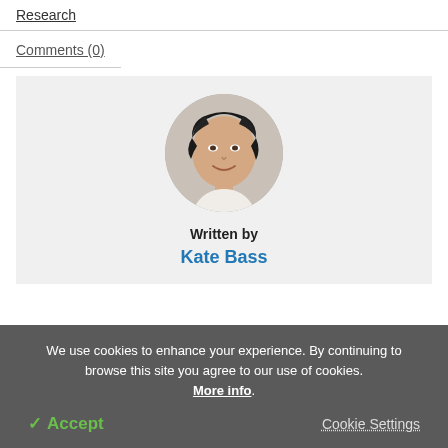Research
Comments (0)
[Figure (photo): Circular profile photo of Kate Bass, a woman with dark curly hair, smiling, wearing a white top]
Written by
Kate Bass
We use cookies to enhance your experience. By continuing to browse this site you agree to our use of cookies. More info.
✓ Accept
Cookie Settings